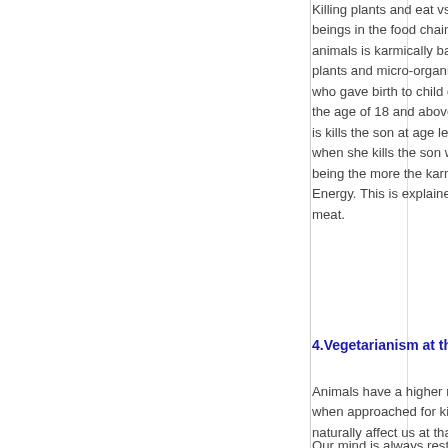Killing plants and eat vs animals also considers the evolution of beings in the food chain. Eating meat is killing highly evolved animals is karmically bad than killing less evolved beings like plants and micro-organisms in fermented rice. Example, a mother who gave birth to child gets death punishments if we kills him at the age of 18 and above. The same mother gets life imprisonment is kills the son at age less than 3. But she get no imprisonment when she kills the son while in the womb. So the more evolved a being the more the karmic debt or tax we owe to the Cosmic Energy. This is explained as decrease in SAL Energy by eating meat.
4.Vegetarianism at the Awareness level - Control of Mind:
Animals have a higher mind development and so exhibit much fear when approached for killing. Their stressful fear and anger will naturally affect us at that same quantum level.
Our mind is always restless due to